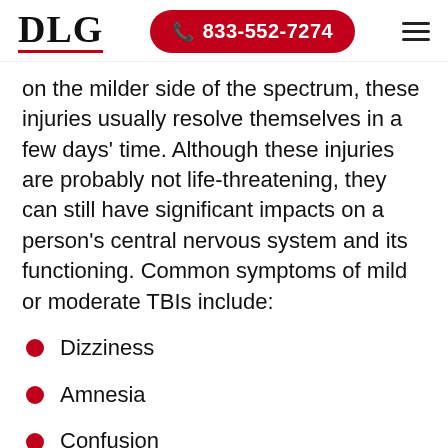DLG | 833-552-7274
on the milder side of the spectrum, these injuries usually resolve themselves in a few days' time. Although these injuries are probably not life-threatening, they can still have significant impacts on a person's central nervous system and its functioning. Common symptoms of mild or moderate TBIs include:
Dizziness
Amnesia
Confusion
Disorientation (partial, cut off)